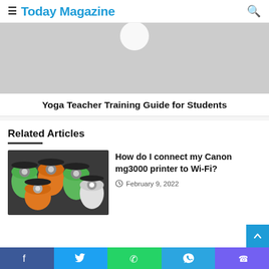Today Magazine
[Figure (photo): Gray placeholder image with a circular play button at top center, partially visible]
Yoga Teacher Training Guide for Students
Related Articles
[Figure (photo): Close-up photo of colorful AA batteries (green, orange, white tops) piled together]
How do I connect my Canon mg3000 printer to Wi-Fi?
February 9, 2022